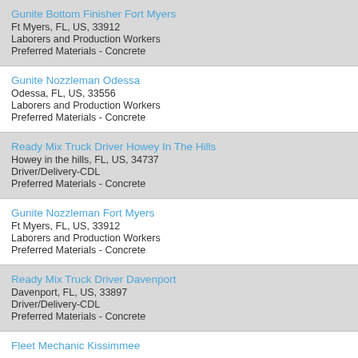Gunite Bottom Finisher Fort Myers
Ft Myers, FL, US, 33912
Laborers and Production Workers
Preferred Materials - Concrete
Gunite Nozzleman Odessa
Odessa, FL, US, 33556
Laborers and Production Workers
Preferred Materials - Concrete
Ready Mix Truck Driver Howey In The Hills
Howey in the hills, FL, US, 34737
Driver/Delivery-CDL
Preferred Materials - Concrete
Gunite Nozzleman Fort Myers
Ft Myers, FL, US, 33912
Laborers and Production Workers
Preferred Materials - Concrete
Ready Mix Truck Driver Davenport
Davenport, FL, US, 33897
Driver/Delivery-CDL
Preferred Materials - Concrete
Fleet Mechanic Kissimmee